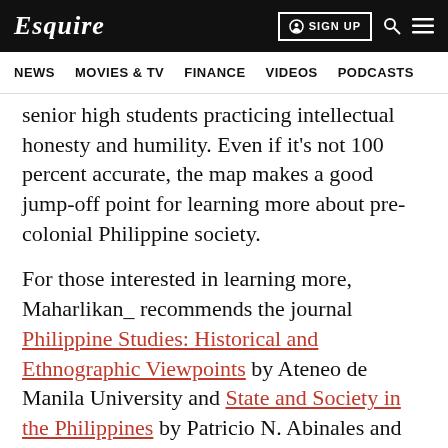Esquire | SIGN UP
NEWS  MOVIES & TV  FINANCE  VIDEOS  PODCASTS
senior high students practicing intellectual honesty and humility. Even if it’s not 100 percent accurate, the map makes a good jump-off point for learning more about pre-colonial Philippine society.
For those interested in learning more, Maharlikan_ recommends the journal Philippine Studies: Historical and Ethnographic Viewpoints by Ateneo de Manila University and State and Society in the Philippines by Patricio N. Abinales and Donna J. Amoroso.